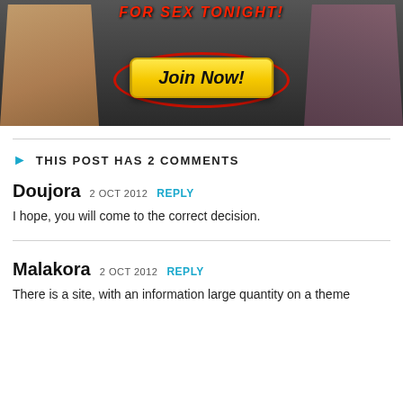[Figure (photo): Advertisement banner with dark background, two women in swimwear, text 'FOR SEX TONIGHT!' in red italic, and a yellow 'Join Now!' button with red oval ring]
THIS POST HAS 2 COMMENTS
Doujora 2 OCT 2012 REPLY
I hope, you will come to the correct decision.
Malakora 2 OCT 2012 REPLY
There is a site, with an information large quantity on a theme